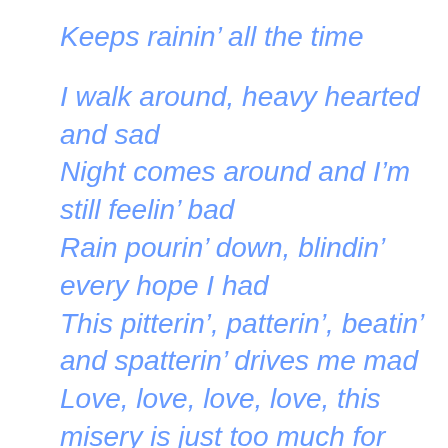Keeps rainin’ all the time
I walk around, heavy hearted and sad
Night comes around and I’m still feelin’ bad
Rain pourin’ down, blindin’ every hope I had
This pitterin’, patterin’, beatin’ and spatterin’ drives me mad
Love, love, love, love, this misery is just too much for me